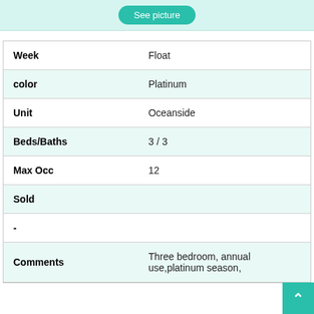[Figure (other): Teal/mint top bar with a 'See picture' button]
| Week | Float |
| color | Platinum |
| Unit | Oceanside |
| Beds/Baths | 3 / 3 |
| Max Occ | 12 |
| Sold |  |
| - |  |
| Comments | Three bedroom, annual use,platinum season, |